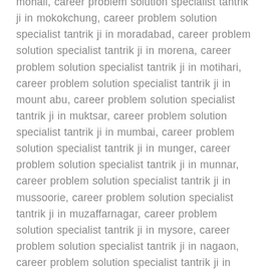mohali, career problem solution specialist tantrik ji in mokokchung, career problem solution specialist tantrik ji in moradabad, career problem solution specialist tantrik ji in morena, career problem solution specialist tantrik ji in motihari, career problem solution specialist tantrik ji in mount abu, career problem solution specialist tantrik ji in muktsar, career problem solution specialist tantrik ji in mumbai, career problem solution specialist tantrik ji in munger, career problem solution specialist tantrik ji in munnar, career problem solution specialist tantrik ji in mussoorie, career problem solution specialist tantrik ji in muzaffarnagar, career problem solution specialist tantrik ji in mysore, career problem solution specialist tantrik ji in nagaon, career problem solution specialist tantrik ji in nagercoil, career problem solution specialist tantrik ji in nagpur, career problem solution specialist tantrik ji in naharlagun, career problem solution specialist tantrik ji in naihati, career problem solution specialist tantrik ji in nainital, career problem solution specialist tantrik ji in nalgonda, career problem solution specialist tantrik ji in